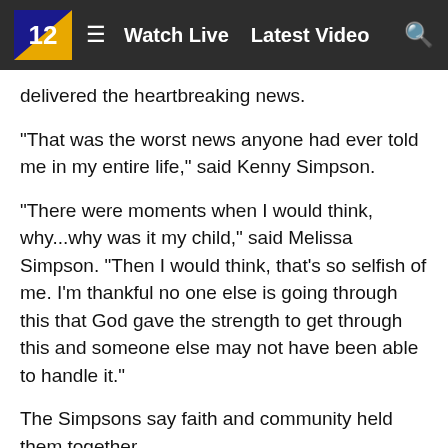Watch Live   Latest Video
delivered the heartbreaking news.
"That was the worst news anyone had ever told me in my entire life," said Kenny Simpson.
"There were moments when I would think, why...why was it my child," said Melissa Simpson. "Then I would think, that's so selfish of me. I'm thankful no one else is going through this that God gave the strength to get through this and someone else may not have been able to handle it."
The Simpsons say faith and community held them together.
"God got me through it, or I would have just lost it because I didn't want to live after that," said Melissa Simpson.
"Anyone that's lost a child, you mourn daily. It's not